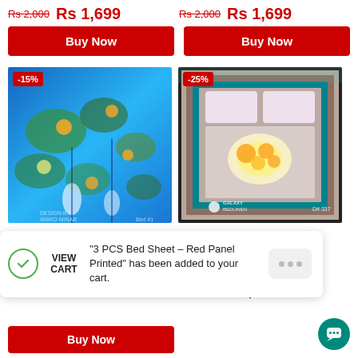Rs 2,000  Rs 1,699  Rs 2,000  Rs 1,699
Buy Now  Buy Now
[Figure (photo): Blue and green floral bedsheet set with -15% discount badge]
[Figure (photo): Brown and teal floral bedsheet (Galaxy Bedlinen, D# 337) with -25% discount badge]
3 P Pri Rs 2
"3 PCS Bed Sheet – Red Panel Printed" has been added to your cart.
Rs 2,800  Rs 2,099
Buy Now